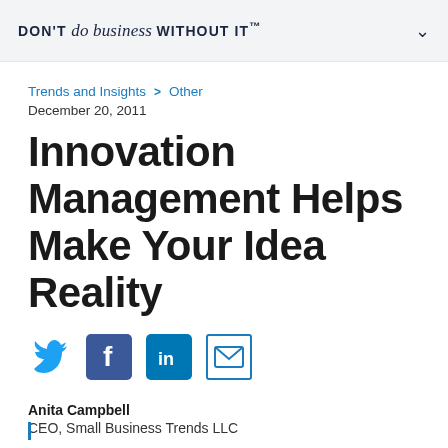DON'T do business WITHOUT IT™
Trends and Insights  >  Other
December 20, 2011
Innovation Management Helps Make Your Idea Reality
[Figure (infographic): Social sharing icons: Twitter (blue bird), Facebook (blue F), LinkedIn (blue in), Email (envelope outline)]
Anita Campbell
CEO, Small Business Trends LLC